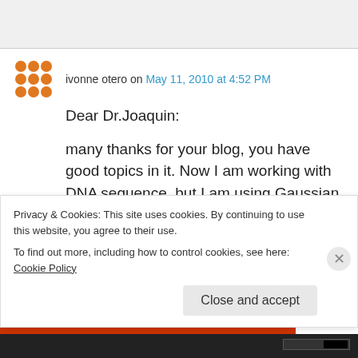[Figure (other): Top gray area / page header background]
ivonne otero on May 11, 2010 at 4:52 PM
Dear Dr.Joaquin:

many thanks for your blog, you have good topics in it. Now I am working with DNA sequence, but I am using Gaussian 03 and 09, I am doing
Privacy & Cookies: This site uses cookies. By continuing to use this website, you agree to their use.
To find out more, including how to control cookies, see here: Cookie Policy
Close and accept